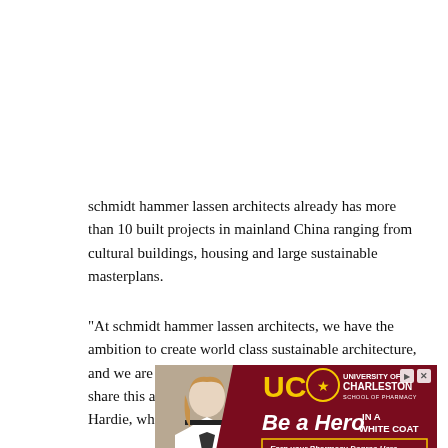schmidt hammer lassen architects already has more than 10 built projects in mainland China ranging from cultural buildings, housing and large sustainable masterplans.
“At schmidt hammer lassen architects, we have the ambition to create world class sustainable architecture, and we are excited that existing and new collaborators share this ambition,” said Associate Partner, Mr Chris Hardie, who is located in the Shanghai office.
[Figure (illustration): Advertisement for University of Charleston School of Pharmacy featuring a woman in a white coat and text 'Be a Hero IN A WHITE COAT' with UC logo and tagline 'Earn your Pharmacy Degree Here - Accredited Pharmacy Program on the campus of UCW']